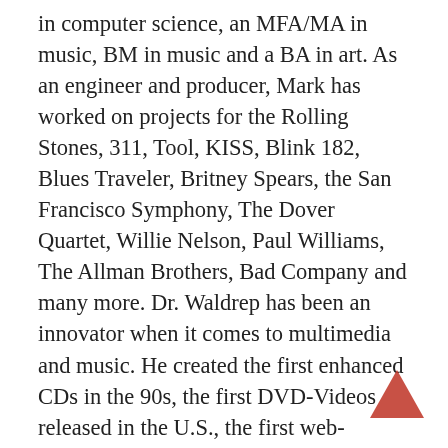in computer science, an MFA/MA in music, BM in music and a BA in art. As an engineer and producer, Mark has worked on projects for the Rolling Stones, 311, Tool, KISS, Blink 182, Blues Traveler, Britney Spears, the San Francisco Symphony, The Dover Quartet, Willie Nelson, Paul Williams, The Allman Brothers, Bad Company and many more. Dr. Waldrep has been an innovator when it comes to multimedia and music. He created the first enhanced CDs in the 90s, the first DVD-Videos released in the U.S., the first web-connected DVD, the first DVD-Audio title, the first music Blu-ray disc and the first 3D Music Album. Additionally, he launched the first High Definition Music Download site in 2007 called iTrax.com. A frequency speaker at audio events, author of numerous articles, Dr. Waldrep is currently writing a book on the production and reproduction of high-
[Figure (other): Red upward-pointing arrow in bottom-right corner]